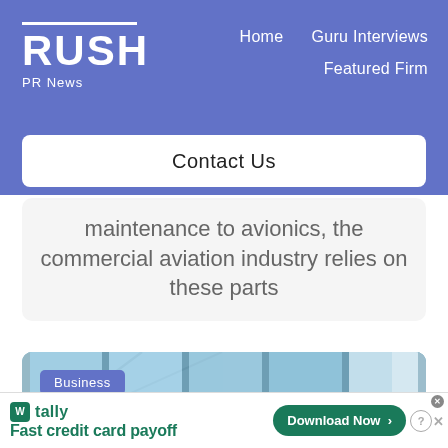RUSH PR News | Home | Guru Interviews | Featured Firm
Contact Us
maintenance to avionics, the commercial aviation industry relies on these parts
[Figure (photo): Interior view of an aviation structure with blue translucent skylight panels and metal framing, with a Business category badge overlay]
[Figure (other): Tally app advertisement banner: Fast credit card payoff, Download Now button]